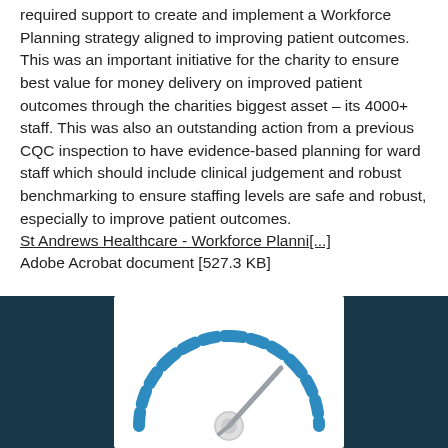required support to create and implement a Workforce Planning strategy aligned to improving patient outcomes. This was an important initiative for the charity to ensure best value for money delivery on improved patient outcomes through the charities biggest asset – its 4000+ staff. This was also an outstanding action from a previous CQC inspection to have evidence-based planning for ward staff which should include clinical judgement and robust benchmarking to ensure staffing levels are safe and robust, especially to improve patient outcomes.
St Andrews Healthcare - Workforce Planni[...]
Adobe Acrobat document [527.3 KB]
[Figure (other): Gauge/speedometer icon partially visible at the bottom of the page against a dark teal background, showing a circular dial with dashed arc segments in blue and a needle pointing to the right.]